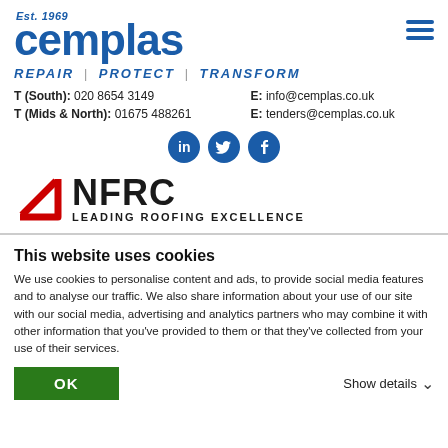[Figure (logo): Cemplas logo with Est. 1969 and hamburger menu icon]
REPAIR / PROTECT / TRANSFORM
T (South): 020 8654 3149   E: info@cemplas.co.uk
T (Mids & North): 01675 488261   E: tenders@cemplas.co.uk
[Figure (logo): Social media icons: LinkedIn, Twitter, Facebook]
[Figure (logo): NFRC logo - Leading Roofing Excellence]
This website uses cookies
We use cookies to personalise content and ads, to provide social media features and to analyse our traffic. We also share information about your use of our site with our social media, advertising and analytics partners who may combine it with other information that you've provided to them or that they've collected from your use of their services.
OK   Show details